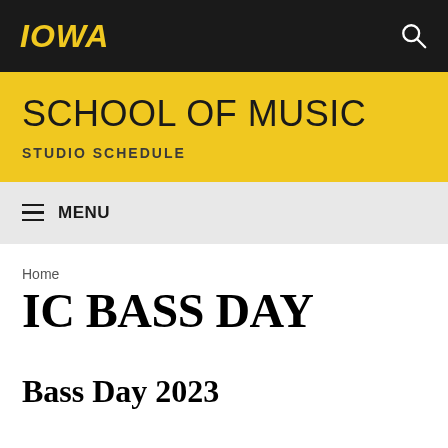IOWA
SCHOOL OF MUSIC
STUDIO SCHEDULE
MENU
Home
IC BASS DAY
Bass Day 2023